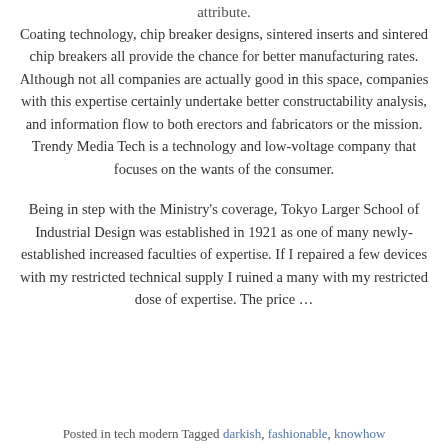attribute.
Coating technology, chip breaker designs, sintered inserts and sintered chip breakers all provide the chance for better manufacturing rates. Although not all companies are actually good in this space, companies with this expertise certainly undertake better constructability analysis, and information flow to both erectors and fabricators or the mission. Trendy Media Tech is a technology and low-voltage company that focuses on the wants of the consumer.
Being in step with the Ministry's coverage, Tokyo Larger School of Industrial Design was established in 1921 as one of many newly-established increased faculties of expertise. If I repaired a few devices with my restricted technical supply I ruined a many with my restricted dose of expertise. The price …
Posted in tech modern Tagged darkish, fashionable, knowhow